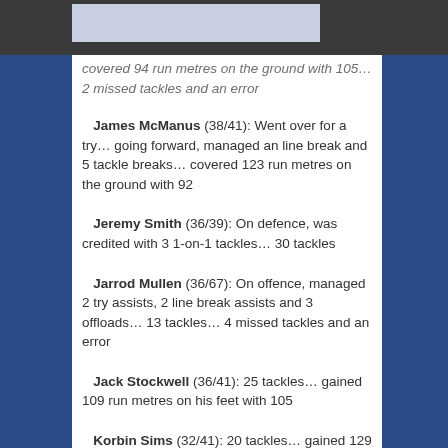covered 94 run metres on the ground with 105… 2 missed tackles and an error
James McManus (38/41): Went over for a try… going forward, managed an line break and 5 tackle breaks… covered 123 run metres on the ground with 92
Jeremy Smith (36/39): On defence, was credited with 3 1-on-1 tackles… 30 tackles
Jarrod Mullen (36/67): On offence, managed 2 try assists, 2 line break assists and 3 offloads… 13 tackles… 4 missed tackles and an error
Jack Stockwell (36/41): 25 tackles… gained 109 run metres on his feet with 105
Korbin Sims (32/41): 20 tackles… gained 129 run metres on his feet with 108… 2 errors
Adam Clydsdale (31/31): 28 tackles